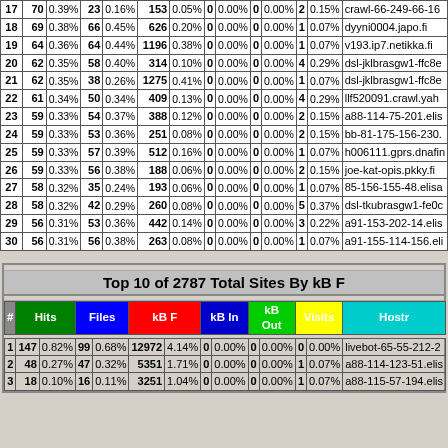| # | Hits |  | Files |  | kB F |  | kB In |  | kB Out |  | Visits |  | Hostname |
| --- | --- | --- | --- | --- | --- | --- | --- | --- | --- | --- | --- | --- | --- |
| 17 | 70 | 0.39% | 23 | 0.16% | 153 | 0.05% | 0 | 0.00% | 0 | 0.00% | 2 | 0.15% | crawl-66-249-66-16... |
| 18 | 69 | 0.38% | 66 | 0.45% | 626 | 0.20% | 0 | 0.00% | 0 | 0.00% | 1 | 0.07% | dyyni0004.japo.fi |
| 19 | 64 | 0.36% | 64 | 0.44% | 1196 | 0.38% | 0 | 0.00% | 0 | 0.00% | 1 | 0.07% | v193.ip7.netikka.fi |
| 20 | 62 | 0.35% | 58 | 0.40% | 314 | 0.10% | 0 | 0.00% | 0 | 0.00% | 4 | 0.29% | dsl-jklbrasgw1-ffc8... |
| 21 | 62 | 0.35% | 38 | 0.26% | 1275 | 0.41% | 0 | 0.00% | 0 | 0.00% | 1 | 0.07% | dsl-jklbrasgw1-ffc8... |
| 22 | 61 | 0.34% | 50 | 0.34% | 409 | 0.13% | 0 | 0.00% | 0 | 0.00% | 4 | 0.29% | llf520091.crawl.yah... |
| 23 | 59 | 0.33% | 54 | 0.37% | 388 | 0.12% | 0 | 0.00% | 0 | 0.00% | 2 | 0.15% | a88-114-75-201.elis... |
| 24 | 59 | 0.33% | 53 | 0.36% | 251 | 0.08% | 0 | 0.00% | 0 | 0.00% | 2 | 0.15% | bb-81-175-156-230.... |
| 25 | 59 | 0.33% | 57 | 0.39% | 512 | 0.16% | 0 | 0.00% | 0 | 0.00% | 1 | 0.07% | h006111.gprs.dnafin... |
| 26 | 59 | 0.33% | 56 | 0.38% | 188 | 0.06% | 0 | 0.00% | 0 | 0.00% | 2 | 0.15% | joe-kat-opis.pkky.fi |
| 27 | 58 | 0.32% | 35 | 0.24% | 193 | 0.06% | 0 | 0.00% | 0 | 0.00% | 1 | 0.07% | 85-156-155-48.elisa... |
| 28 | 58 | 0.32% | 42 | 0.29% | 260 | 0.08% | 0 | 0.00% | 0 | 0.00% | 5 | 0.37% | dsl-tkubrasgw1-fe0c... |
| 29 | 56 | 0.31% | 53 | 0.36% | 442 | 0.14% | 0 | 0.00% | 0 | 0.00% | 3 | 0.22% | a91-153-202-14.elis... |
| 30 | 56 | 0.31% | 56 | 0.38% | 263 | 0.08% | 0 | 0.00% | 0 | 0.00% | 1 | 0.07% | a91-155-114-156.eli... |
Top 10 of 2787 Total Sites By kB F
| # | Hits |  | Files |  | kB F |  | kB In |  | kB Out |  | Visits |  | Hostname |
| --- | --- | --- | --- | --- | --- | --- | --- | --- | --- | --- | --- | --- | --- |
| 1 | 147 | 0.82% | 99 | 0.68% | 12972 | 4.14% | 0 | 0.00% | 0 | 0.00% | 0 | 0.00% | livebot-65-55-212-2... |
| 2 | 48 | 0.27% | 47 | 0.32% | 5351 | 1.71% | 0 | 0.00% | 0 | 0.00% | 1 | 0.07% | a88-114-123-51.elis... |
| 3 | 18 | 0.10% | 16 | 0.11% | 3251 | 1.04% | 0 | 0.00% | 0 | 0.00% | 1 | 0.07% | a88-115-57-194.elis... |